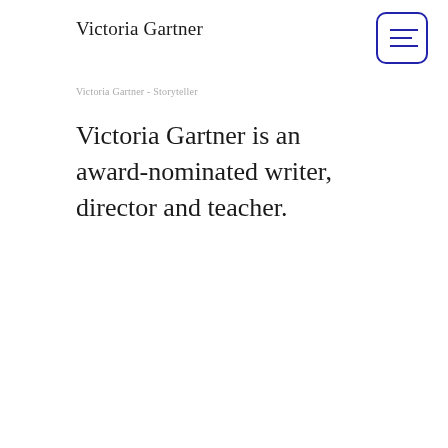Victoria Gartner
Victoria Gartner - Storyteller
Victoria Gartner is an award-nominated writer, director and teacher.